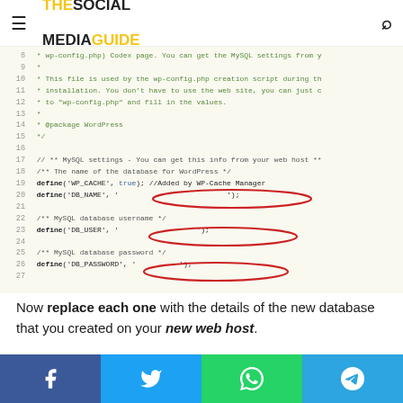THE SOCIAL MEDIA GUIDE
[Figure (screenshot): WordPress wp-config.php PHP code editor screenshot showing lines 8-27 with MySQL database configuration settings. Lines 19-20 show define('WP_CACHE', true) and define('DB_NAME', ...) highlighted with red oval. Line 23 shows define('DB_USER', ...) highlighted with red oval. Line 26 shows define('DB_PASSWORD', ...) highlighted with red oval.]
Now replace each one with the details of the new database that you created on your new web host.
Social share buttons: Facebook, Twitter, WhatsApp, Telegram